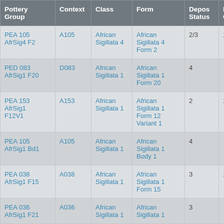| Pottery Group | Context | Class | Form | Depos Status | R Ct | R EV |
| --- | --- | --- | --- | --- | --- | --- |
| PEA 105 AfrSig4 F2 | A105 | African Sigillata 4 | African Sigillata 4 Form 2 | 2/3 | 1 | 1 |
| PED 083 AfrSig1 F20 | D083 | African Sigillata 1 | African Sigillata 1 Form 20 | 4 |  |  |
| PEA 153 AfrSig1 F12V1 | A153 | African Sigillata 1 | African Sigillata 1 Form 12 Variant 1 | 2 | 1 | 1 |
| PEA 105 AfrSig1 Bd1 | A105 | African Sigillata 1 | African Sigillata 1 Body 1 | 4 |  |  |
| PEA 038 AfrSig1 F15 | A038 | African Sigillata 1 | African Sigillata 1 Form 15 | 3 | 1 | 1 |
| PEA 036 AfrSig1 F21 | A036 | African Sigillata 1 | African Sigillata 1 | 3 |  |  |